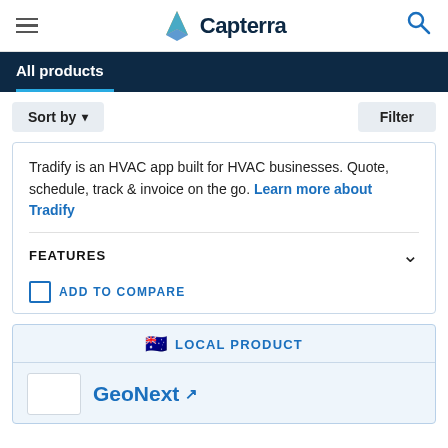Capterra
All products
Sort by ▾
Filter
Tradify is an HVAC app built for HVAC businesses. Quote, schedule, track & invoice on the go. Learn more about Tradify
FEATURES
ADD TO COMPARE
🇦🇺 LOCAL PRODUCT
GeoNext